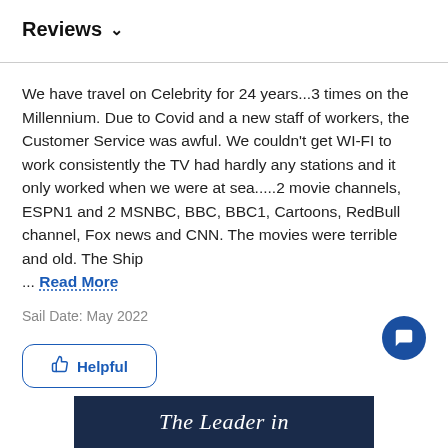Reviews ∨
We have travel on Celebrity for 24 years...3 times on the Millennium. Due to Covid and a new staff of workers, the Customer Service was awful. We couldn't get WI-FI to work consistently the TV had hardly any stations and it only worked when we were at sea.....2 movie channels, ESPN1 and 2 MSNBC, BBC, BBC1, Cartoons, RedBull channel, Fox news and CNN. The movies were terrible and old. The Ship ... Read More
Sail Date: May 2022
👍 Helpful
[Figure (other): Chat bubble button (circular dark blue icon with speech bubble symbol)]
The Leader in